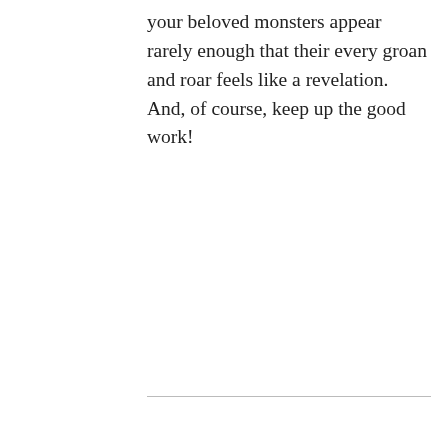your beloved monsters appear rarely enough that their every groan and roar feels like a revelation. And, of course, keep up the good work!
Agency screeners' pet peeves of the notorious variety, Art Of Revision, Constructing a narrative, Contest judging criteria, Craft! In-depth analysis, E-mailed submissions, Editing for clarity, Editing for complexity, Editing